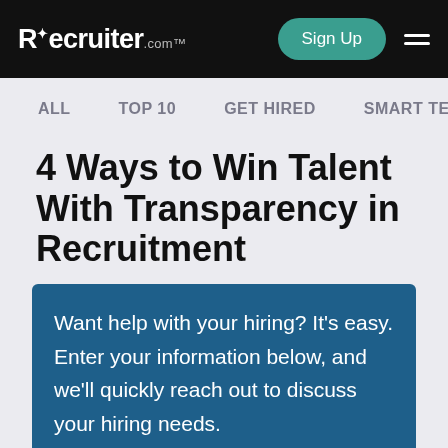Recruiter.com — Sign Up
ALL   TOP 10   GET HIRED   SMART TEC
4 Ways to Win Talent With Transparency in Recruitment
Want help with your hiring? It's easy. Enter your information below, and we'll quickly reach out to discuss your hiring needs.